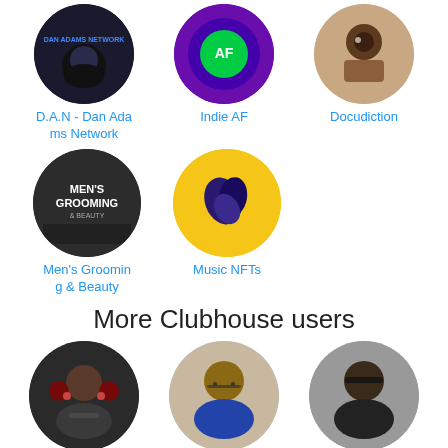[Figure (other): Club avatar circle for D.A.N - Dan Adams Network]
[Figure (other): Club avatar circle for Indie AF]
[Figure (other): Club avatar circle for Docudiction]
D.A.N - Dan Adams Network
Indie AF
Docudiction
[Figure (other): Club avatar circle for Men's Grooming & Beauty]
[Figure (other): Club avatar circle for Music NFTs]
Men's Grooming & Beauty
Music NFTs
More Clubhouse users
[Figure (photo): User avatar photo for Skip]
[Figure (photo): User avatar photo for Deepak Abbot]
[Figure (photo): User avatar photo for Keyon Harrold]
Skip
Deepak Abbot
Keyon Harrold
[Figure (photo): User avatar photo row 2, user 1]
[Figure (photo): User avatar photo row 2, user 2]
[Figure (photo): User avatar photo row 2, user 3]